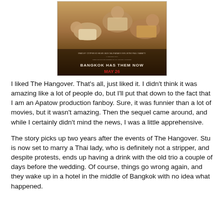[Figure (photo): Movie poster for The Hangover Part II showing actors lying down, with text 'BANGKOK HAS THEM NOW' and 'MAY 26' in red]
I liked The Hangover. That's all, just liked it. I didn't think it was amazing like a lot of people do, but I'll put that down to the fact that I am an Apatow production fanboy. Sure, it was funnier than a lot of movies, but it wasn't amazing. Then the sequel came around, and while I certainly didn't mind the news, I was a little apprehensive.
The story picks up two years after the events of The Hangover. Stu is now set to marry a Thai lady, who is definitely not a stripper, and despite protests, ends up having a drink with the old trio a couple of days before the wedding. Of course, things go wrong again, and they wake up in a hotel in the middle of Bangkok with no idea what happened.